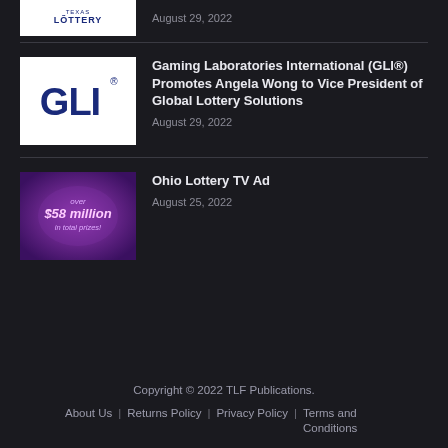[Figure (logo): Texas Lottery logo (partial, cropped at top)]
August 29, 2022
[Figure (logo): GLI Gaming Laboratories International logo, white background with navy GLI text]
Gaming Laboratories International (GLI®) Promotes Angela Wong to Vice President of Global Lottery Solutions
August 29, 2022
[Figure (photo): Ohio Lottery TV Ad thumbnail, purple background with text 'over $58 million in total prizes!']
Ohio Lottery TV Ad
August 25, 2022
Copyright © 2022 TLF Publications.
About Us | Returns Policy | Privacy Policy | Terms and Conditions